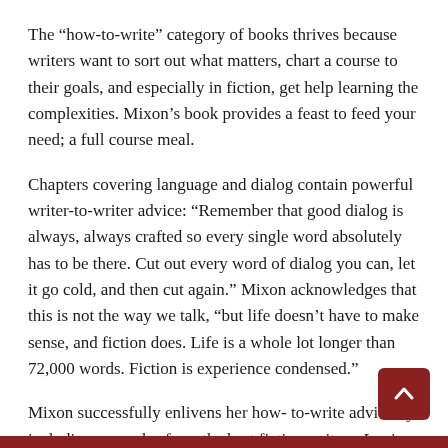The “how-to-write” category of books thrives because writers want to sort out what matters, chart a course to their goals, and especially in fiction, get help learning the complexities. Mixon’s book provides a feast to feed your need; a full course meal.
Chapters covering language and dialog contain powerful writer-to-writer advice: “Remember that good dialog is always, always crafted so every single word absolutely has to be there. Cut out every word of dialog you can, let it go cold, and then cut again.” Mixon acknowledges that this is not the way we talk, “but life doesn’t have to make sense, and fiction does. Life is a whole lot longer than 72,000 words. Fiction is experience condensed.”
Mixon successfully enlivens her how- to-write advice by including examples from the best fiction writers: Louisa May Alcott, Capote, Hemingway, and Flannery O’Connor.
The Art & Craft of Fiction includes generous support and advice on the art of revision, really going deep, as well as helpful tips to organise and manage multiple edits and revisions...